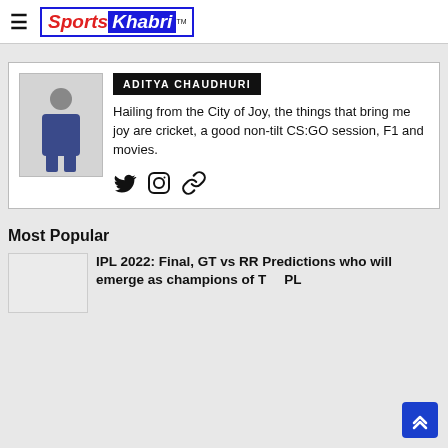Sports Khabri (logo)
[Figure (photo): Author profile photo of Aditya Chaudhuri, a person standing in casual blue outfit against white background]
ADITYA CHAUDHURI
Hailing from the City of Joy, the things that bring me joy are cricket, a good non-tilt CS:GO session, F1 and movies.
[Figure (other): Social media icons: Twitter, Instagram, link/chain icon]
Most Popular
[Figure (photo): Thumbnail image for IPL 2022 article]
IPL 2022: Final, GT vs RR Predictions who will emerge as champions of T PL